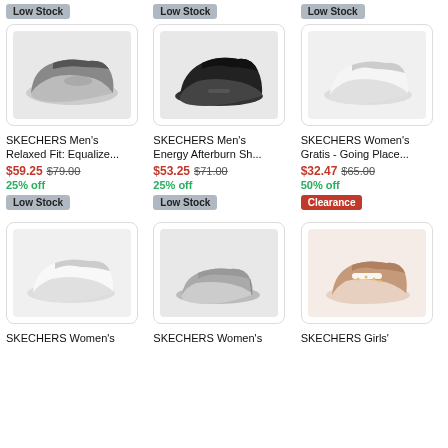[Figure (photo): SKECHERS Men's Relaxed Fit Equalize sneaker, gray/black colorway]
[Figure (photo): SKECHERS Men's Energy Afterburn shoe, all-black colorway]
[Figure (photo): SKECHERS Women's Gratis Going Places sneaker, white colorway]
SKECHERS Men's Relaxed Fit: Equalize...
$59.25  $79.00
25% off
Low Stock
SKECHERS Men's Energy Afterburn Sh...
$53.25  $71.00
25% off
Low Stock
SKECHERS Women's Gratis - Going Place...
$32.47  $65.00
50% off
Clearance
[Figure (photo): SKECHERS Women's white sneaker]
[Figure (photo): SKECHERS Women's gray slip-on shoe]
[Figure (photo): SKECHERS Girls' pink/bronze sneaker]
SKECHERS Women's
SKECHERS Women's
SKECHERS Girls'